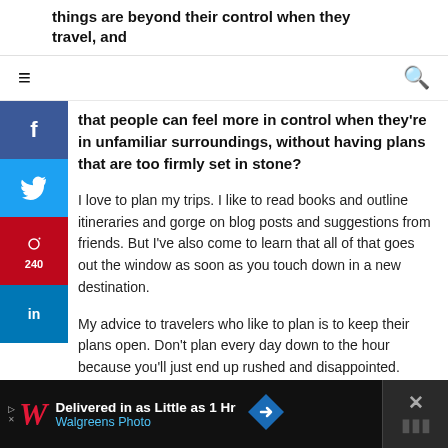things are beyond their control when they travel, and
that people can feel more in control when they're in unfamiliar surroundings, without having plans that are too firmly set in stone?
I love to plan my trips. I like to read books and outline itineraries and gorge on blog posts and suggestions from friends. But I've also come to learn that all of that goes out the window as soon as you touch down in a new destination.
My advice to travelers who like to plan is to keep their plans open. Don't plan every day down to the hour because you'll just end up rushed and disappointed.
[Figure (screenshot): Walgreens Photo advertisement: 'Delivered in as Little as 1 Hr' with Walgreens Photo logo and navigation arrow icon on dark background]